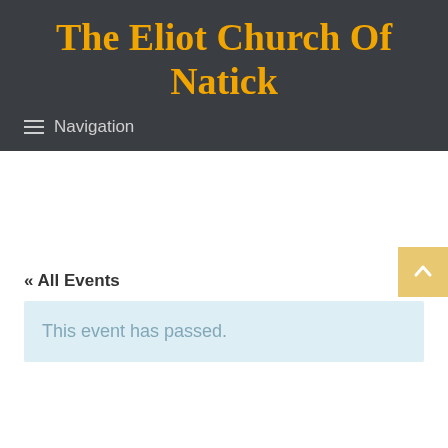The Eliot Church Of Natick
≡ Navigation
« All Events
This event has passed.